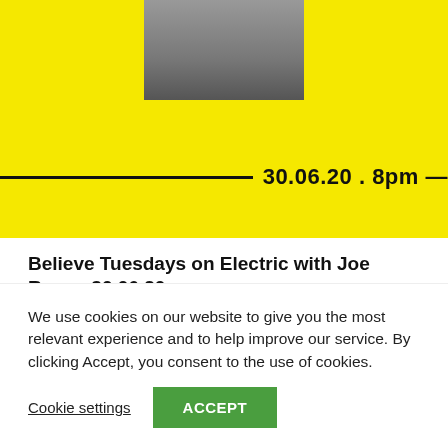[Figure (photo): Yellow promotional banner with a black-and-white photo of a man (Joe Russo) at the top, and a horizontal line with the text '30.06.20 . 8pm —' in bold black. Background is bright yellow.]
Believe Tuesdays on Electric with Joe Russo 30.06.20
30th June 2020
[Figure (photo): Partial view of another yellow promotional banner with a black border rectangle, a logo on the left side, and a partially visible black-and-white photo of a person.]
We use cookies on our website to give you the most relevant experience and to help improve our service. By clicking Accept, you consent to the use of cookies.
Cookie settings
ACCEPT